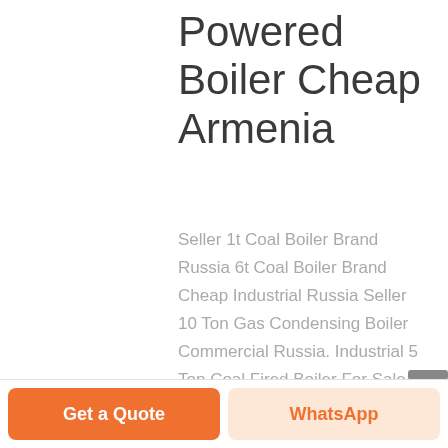Powered Boiler Cheap Armenia
Seller 1t Coal Boiler Brand Russia 6t Coal Boiler Brand Cheap Industrial Russia Seller 10 Ton Gas Condensing Boiler Commercial Russia. Industrial 5 Ton Coal Fired Boiler For Sale. 5 Heavy Oil Industrial - paghamcaravancouk 0 5 to 20 Industrial Steam Price 0
Get a Quote
WhatsApp